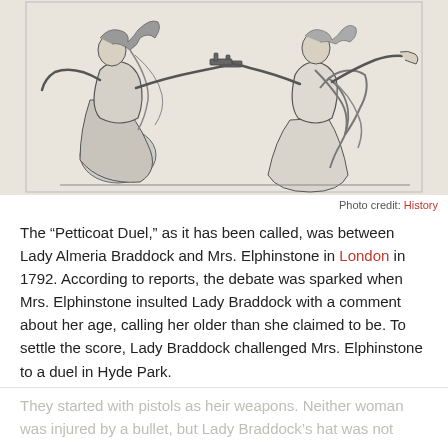[Figure (illustration): Historical engraving/etching depicting two women in 18th century dress facing each other, each extending one arm holding a pistol pointed at the other. The woman on the left is wearing a long dress and her other arm is raised. The woman on the right stands upright with ribbons/sash, also pointing a pistol. The image is rendered in black and white line art typical of period engravings.]
Photo credit: History
The "Petticoat Duel," as it has been called, was between Lady Almeria Braddock and Mrs. Elphinstone in London in 1792. According to reports, the debate was sparked when Mrs. Elphinstone insulted Lady Braddock with a comment about her age, calling her older than she claimed to be. To settle the score, Lady Braddock challenged Mrs. Elphinstone to a duel in Hyde Park.
They started with pistols as heir weapons. Neither woman was injured by a bullet, but Lady Braddock's hat was not...